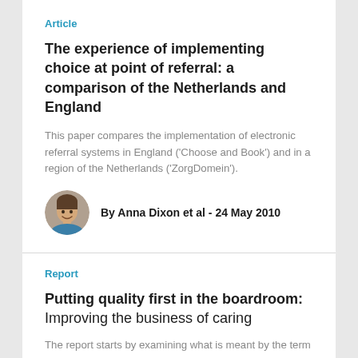Article
The experience of implementing choice at point of referral: a comparison of the Netherlands and England
This paper compares the implementation of electronic referral systems in England ('Choose and Book') and in a region of the Netherlands ('ZorgDomein').
By Anna Dixon et al · 24 May 2010
Report
Putting quality first in the boardroom: Improving the business of caring
The report starts by examining what is meant by the term 'clinical quality' and why it has the potential to be marginalised in the boardroom. It goes on to consider the